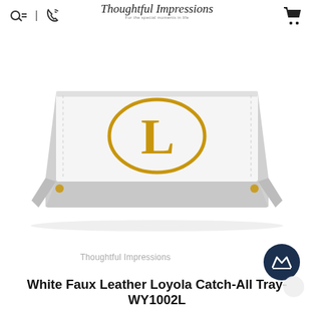Thoughtful Impressions — For the special moments in life
[Figure (photo): White faux leather catch-all tray with gold monogram letter L inside a gold oval, viewed from front angle showing the rectangular tray shape with stitching detail]
Thoughtful Impressions
White Faux Leather Loyola Catch-All Tray- WY1002L